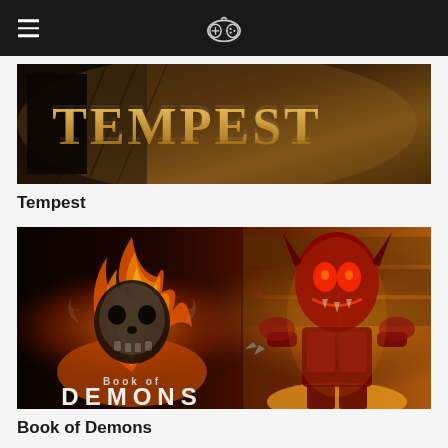Game controller navigation header
[Figure (screenshot): Tempest game banner with dark fantasy artwork showing a cloaked figure and the golden text TEMPEST on a dramatic stormy background]
Tempest
[Figure (screenshot): Book of Demons game banner showing a flaming skull logo on the left with text 'Book of Demons' and a red demon monster on a fiery golden background on the right]
Book of Demons